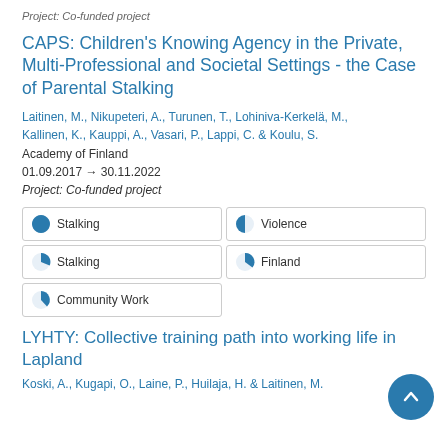Project: Co-funded project
CAPS: Children's Knowing Agency in the Private, Multi-Professional and Societal Settings - the Case of Parental Stalking
Laitinen, M., Nikupeteri, A., Turunen, T., Lohiniva-Kerkelä, M., Kallinen, K., Kauppi, A., Vasari, P., Lappi, C. & Koulu, S.
Academy of Finland
01.09.2017 → 30.11.2022
Project: Co-funded project
[Figure (infographic): Five keyword boxes with pie-chart icons showing percentage fill: Stalking 100%, Violence ~50%, Stalking ~40%, Finland ~30%, Community Work ~25%]
LYHTY: Collective training path into working life in Lapland
Koski, A., Kugapi, O., Laine, P., Huilaja, H. & Laitinen, M.